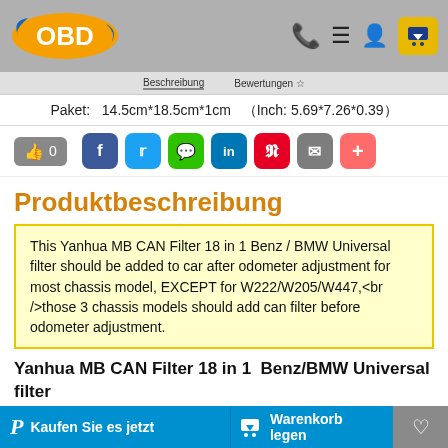OBD [logo] | Beschreibung | Bewertungen
Paket:  14.5cm*18.5cm*1cm  ( Inch: 5.69*7.26*0.39 )
Produktbeschreibung
This Yanhua MB CAN Filter 18 in 1 Benz / BMW Universal filter should be added to car after odometer adjustment for most chassis model, EXCEPT for W222/W205/W447,<br />those 3 chassis models should add can filter before odometer adjustment.
Yanhua MB CAN Filter 18 in 1  Benz/BMW Universal filter
Latest Benz / BMW Universal CAN Filter
Kaufen Sie es jetzt | Warenkorb legen | ♡